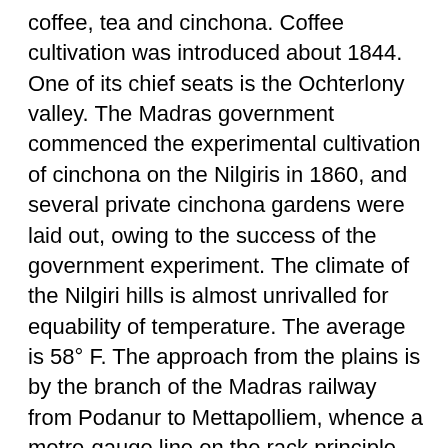coffee, tea and cinchona. Coffee cultivation was introduced about 1844. One of its chief seats is the Ochterlony valley. The Madras government commenced the experimental cultivation of cinchona on the Nilgiris in 1860, and several private cinchona gardens were laid out, owing to the success of the government experiment. The climate of the Nilgiri hills is almost unrivalled for equability of temperature. The average is 58° F. The approach from the plains is by the branch of the Madras railway from Podanur to Mettapolliem, whence a metre-gauge line on the rack principle has been constructed to Coonoor, with an extension to Ootacamund. The chief educational institution is the Lawrence Asylum at Ootacamund maintained by government. The military quarters are at Wellington. See Nilgiris District Gazetteer (Madras,1908).